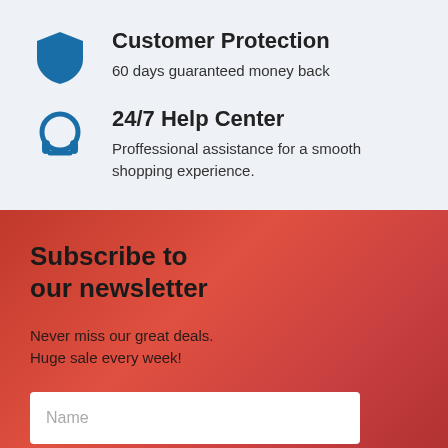Customer Protection
60 days guaranteed money back
24/7 Help Center
Proffessional assistance for a smooth shopping experience.
Subscribe to our newsletter
Never miss our great deals.
Huge sale every week!